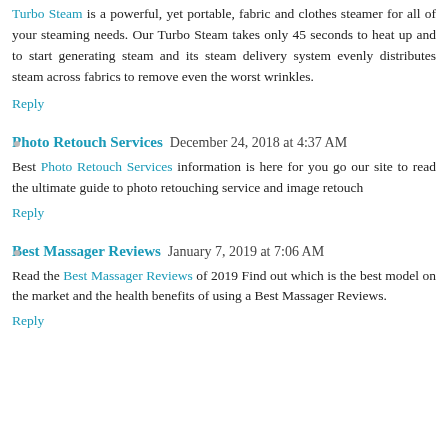Turbo Steam is a powerful, yet portable, fabric and clothes steamer for all of your steaming needs. Our Turbo Steam takes only 45 seconds to heat up and to start generating steam and its steam delivery system evenly distributes steam across fabrics to remove even the worst wrinkles.
Reply
Photo Retouch Services  December 24, 2018 at 4:37 AM
Best Photo Retouch Services information is here for you go our site to read the ultimate guide to photo retouching service and image retouch
Reply
Best Massager Reviews  January 7, 2019 at 7:06 AM
Read the Best Massager Reviews of 2019 Find out which is the best model on the market and the health benefits of using a Best Massager Reviews.
Reply